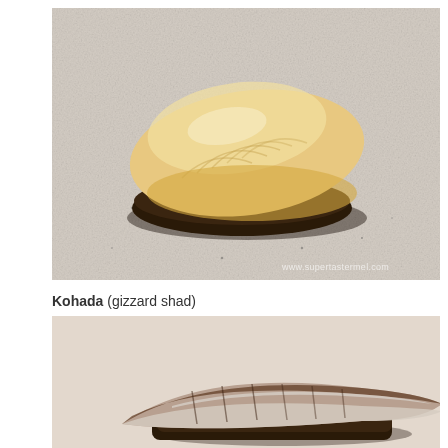[Figure (photo): Close-up photograph of a piece of nigiri sushi with pale yellowish-white fish on dark rice, placed on a speckled granite surface. Watermark reads www.supertastermel.com in the bottom right corner.]
Kohada (gizzard shad)
[Figure (photo): Close-up photograph of a piece of nigiri sushi with kohada (gizzard shad) fish showing silver and brown striped skin on rice, on a light beige background.]